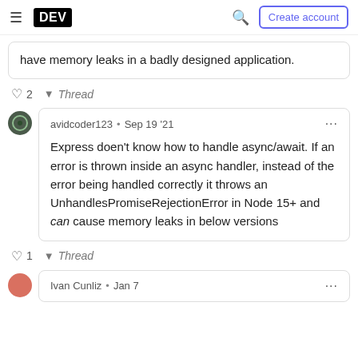DEV | Create account
have memory leaks in a badly designed application.
2  Thread
avidcoder123 · Sep 19 '21
Express doen't know how to handle async/await. If an error is thrown inside an async handler, instead of the error being handled correctly it throws an UnhandlesPromiseRejectionError in Node 15+ and can cause memory leaks in below versions
1  Thread
Ivan Cunliz · Jan 7